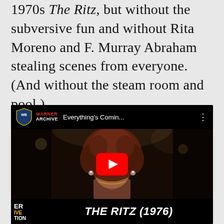1970s The Ritz, but without the subversive fun and without Rita Moreno and F. Murray Abraham stealing scenes from everyone. (And without the steam room and pool.)
[Figure (screenshot): YouTube video thumbnail for 'Everything's Comin...' from Warner Archive channel, showing a woman with large curly auburn hair. Bottom bar reads 'THE RITZ (1976)' in bold italic white text on black background.]